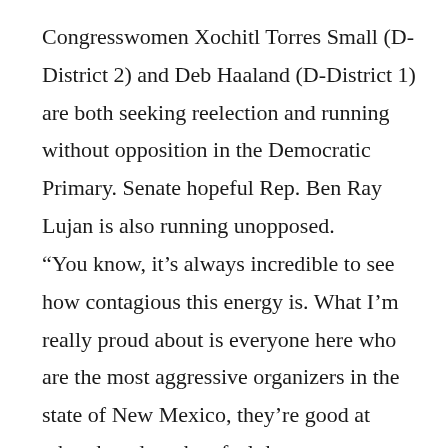Congresswomen Xochitl Torres Small (D-District 2) and Deb Haaland (D-District 1) are both seeking reelection and running without opposition in the Democratic Primary. Senate hopeful Rep. Ben Ray Lujan is also running unopposed. “You know, it’s always incredible to see how contagious this energy is. What I’m really proud about is everyone here who are the most aggressive organizers in the state of New Mexico, they’re good at what they do – they feel the urgency at what’s at stake and they know we all have to come together to defeat Donald Trump in 2020,” Rep. Lujan said. The most contested race for Democrats right now is